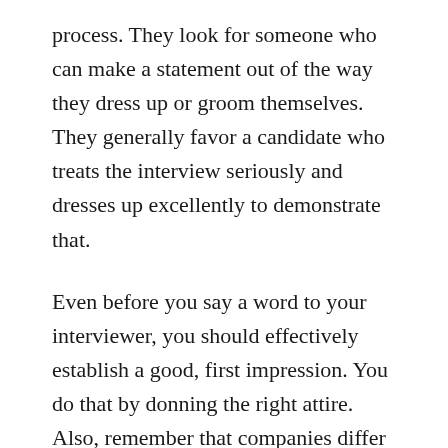process. They look for someone who can make a statement out of the way they dress up or groom themselves. They generally favor a candidate who treats the interview seriously and dresses up excellently to demonstrate that.
Even before you say a word to your interviewer, you should effectively establish a good, first impression. You do that by donning the right attire. Also, remember that companies differ in their dress codes, which means that your wardrobe for a specific job may not be acceptable in your next interview.
Men and women differ in the way they prepare for an important job interview, but it all boils down to wearing neat and clean clothes, looking and smelling good, styling your hair right, and keeping your breath fresh. Trust us; [continues]